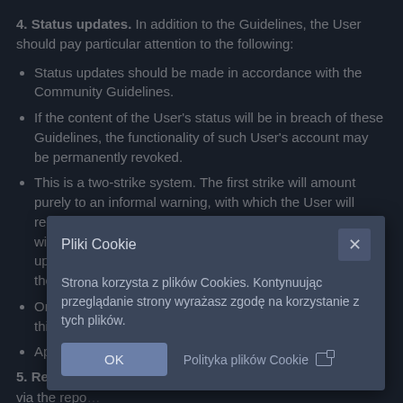4. Status updates. In addition to the Guidelines, the User should pay particular attention to the following:
Status updates should be made in accordance with the Community Guidelines.
If the content of the User's status will be in breach of these Guidelines, the functionality of such User's account may be permanently revoked.
This is a two-strike system. The first strike will amount purely to an informal warning, with which the User will receive a PM explaining the situation. The second strike will amount to a permanent device on the User's status update abilities. A record of these warnings will be kept by the moderation team.
On occasion, an update will be removed without warning, this will n[obscured by dialog]
Appe[obscured] Mode[obscured] other[obscured] decis[obscured]
5. Reporting[obscured]
via the repo[obscured]
other issues or more major issues can be done via a competent
[Figure (screenshot): Cookie consent dialog overlay with title 'Pliki Cookie', body text in Polish about cookies, an OK button, and a 'Polityka plików Cookie' link, with a close (X) button in the top right.]